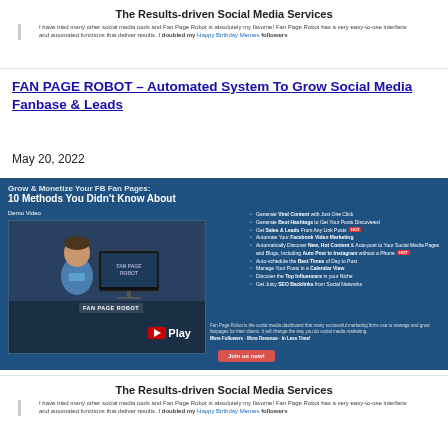[Figure (screenshot): Top partial screenshot showing 'The Results-driven Social Media Services' heading and testimonial text with left border]
FAN PAGE ROBOT – Automated System To Grow Social Media Fanbase & Leads
May 20, 2022
[Figure (screenshot): Screenshot of Fan Page Robot promotional page with dark blue background. Shows 'Grow & Monetize Your FB Fan Pages: 10 Methods You Didn't Know About' heading, a demo video thumbnail with a man and play button, and a list of features including Viral Content, Best Hashtags, Sales & Leads, Facebook Video Marketing, New Hot Content, Auto Post to Instagram, Best Times, Calendar View, Top Influencers, SEO Backlinks, plus Join us now button.]
[Figure (screenshot): Bottom partial screenshot showing 'The Results-driven Social Media Services' heading and testimonial text with left border]